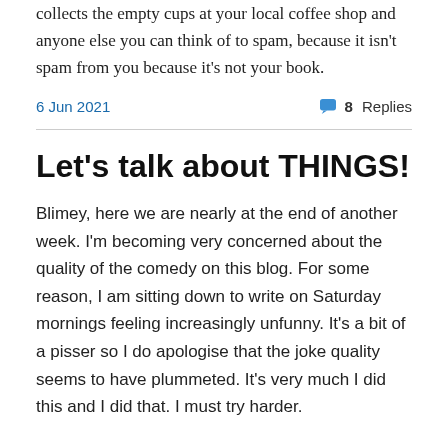collects the empty cups at your local coffee shop and anyone else you can think of to spam, because it isn't spam from you because it's not your book.
6 Jun 2021    💬 8 Replies
Let's talk about THINGS!
Blimey, here we are nearly at the end of another week. I'm becoming very concerned about the quality of the comedy on this blog. For some reason, I am sitting down to write on Saturday mornings feeling increasingly unfunny. It's a bit of a pisser so I do apologise that the joke quality seems to have plummeted. It's very much I did this and I did that. I must try harder.